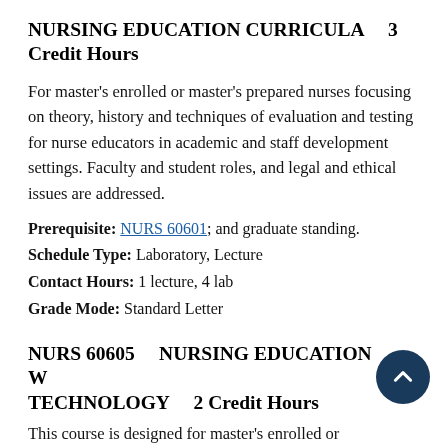NURSING EDUCATION CURRICULA    3 Credit Hours
For master's enrolled or master's prepared nurses focusing on theory, history and techniques of evaluation and testing for nurse educators in academic and staff development settings. Faculty and student roles, and legal and ethical issues are addressed.
Prerequisite: NURS 60601; and graduate standing.
Schedule Type: Laboratory, Lecture
Contact Hours: 1 lecture, 4 lab
Grade Mode: Standard Letter
NURS 60605    NURSING EDUCATION WITH TECHNOLOGY    2 Credit Hours
This course is designed for master's enrolled or